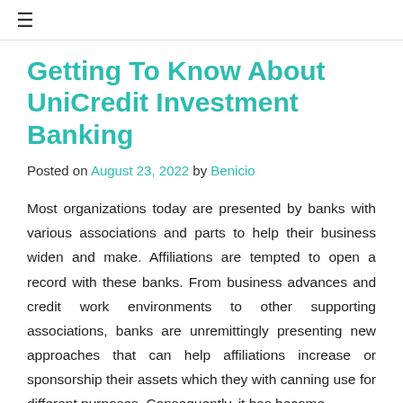≡
Getting To Know About UniCredit Investment Banking
Posted on August 23, 2022 by Benicio
Most organizations today are presented by banks with various associations and parts to help their business widen and make. Affiliations are tempted to open a record with these banks. From business advances and credit work environments to other supporting associations, banks are unremittingly presenting new approaches that can help affiliations increase or sponsorship their assets which they with canning use for different purposes. Consequently, it has become